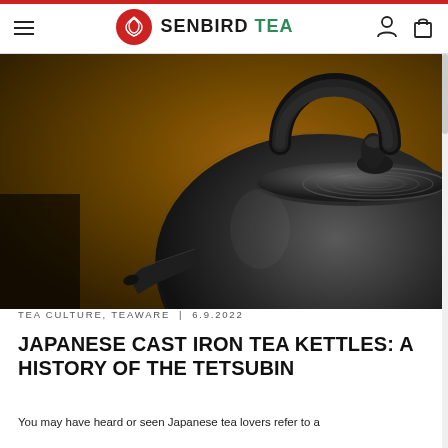SENBIRD TEA
[Figure (photo): Close-up photograph of a dark Japanese cast iron tea kettle (tetsubin) with a curved handle, textured body with spiral ridges on the lid, and a short spout, set against a warm golden-brown bokeh background.]
TEA CULTURE, TEAWARE | 6.9.2022
JAPANESE CAST IRON TEA KETTLES: A HISTORY OF THE TETSUBIN
You may have heard or seen Japanese tea lovers refer to a